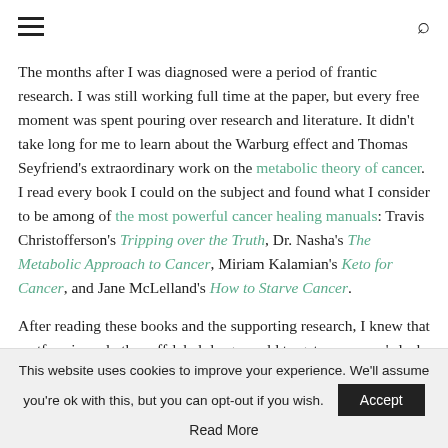☰ [search icon]
The months after I was diagnosed were a period of frantic research. I was still working full time at the paper, but every free moment was spent pouring over research and literature. It didn't take long for me to learn about the Warburg effect and Thomas Seyfriend's extraordinary work on the metabolic theory of cancer. I read every book I could on the subject and found what I consider to be among of the most powerful cancer healing manuals: Travis Christofferson's Tripping over the Truth, Dr. Nasha's The Metabolic Approach to Cancer, Miriam Kalamian's Keto for Cancer, and Jane McLelland's How to Starve Cancer.
After reading these books and the supporting research, I knew that metformin and other off-label drugs could target my cancer's lack of metabolic flexibility and enhance the
This website uses cookies to improve your experience. We'll assume you're ok with this, but you can opt-out if you wish.
Read More